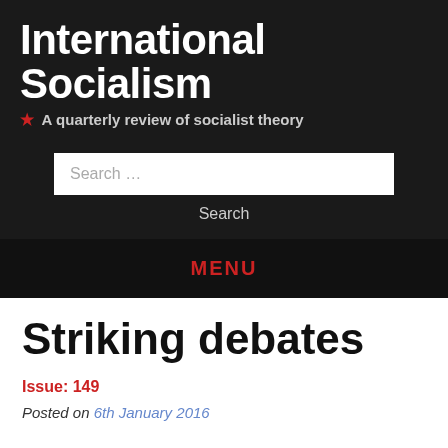International Socialism
★ A quarterly review of socialist theory
Search …
Search
MENU
Striking debates
Issue: 149
Posted on 6th January 2016